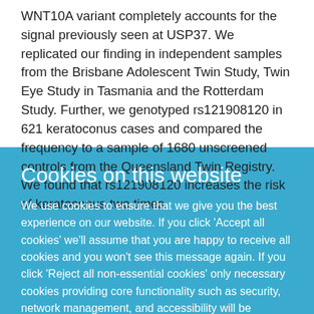WNT10A variant completely accounts for the signal previously seen at USP37. We replicated our finding in independent samples from the Brisbane Adolescent Twin Study, Twin Eye Study in Tasmania and the Rotterdam Study. Further, we genotyped rs121908120 in 621 keratoconus cases and compared the frequency to a sample of 1680 unscreened controls from the Queensland Twin Registry. We found that rs121908120 increases the risk of keratoconus two times
Cookies on this website
We use cookies to ensure that we give you the best experience on our website. If you click 'Accept all cookies' we'll assume that you are happy to receive all cookies and you won't see this message again. If you click 'Reject all non-essential cookies' only necessary cookies providing core functionality such as security, network management, and accessibility will be enabled. Click 'Find out more' for information on how to change your cookie settings.